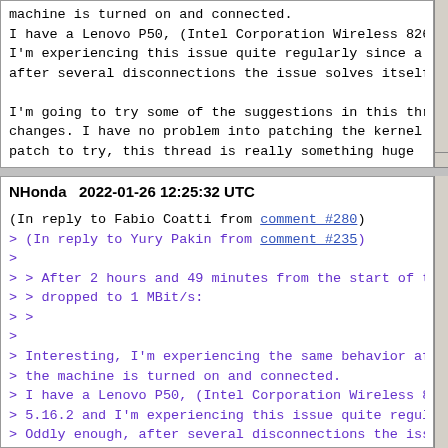machine is turned on and connected.
I have a Lenovo P50, (Intel Corporation Wireless 826
I'm experiencing this issue quite regularly since a
after several disconnections the issue solves itself
I'm going to try some of the suggestions in this thr
changes. I have no problem into patching the kernel
patch to try, this thread is really something huge :
NHonda   2022-01-26 12:25:32 UTC
(In reply to Fabio Coatti from comment #280)
> (In reply to Yury Pakin from comment #235)
>
> > After 2 hours and 49 minutes from the start of t
> > dropped to 1 MBit/s:
> >
>
> Interesting, I'm experiencing the same behavior af
> the machine is turned on and connected.
> I have a Lenovo P50, (Intel Corporation Wireless 8
> 5.16.2 and I'm experiencing this issue quite regul
> Oddly enough, after several disconnections the iss
>
> I'm going to try some of the suggestions in this t
> changes. I have no problem into patching the kerne
> sure which patch to try, this thread is really som